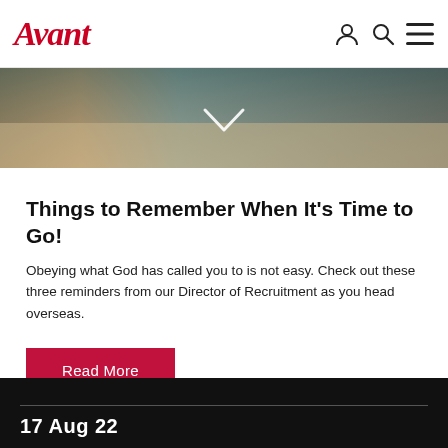Avant
[Figure (photo): Hero image showing colorful scene with a chevron/down arrow overlay]
Things to Remember When It's Time to Go!
Obeying what God has called you to is not easy. Check out these three reminders from our Director of Recruitment as you head overseas.
Read More
17 Aug 22